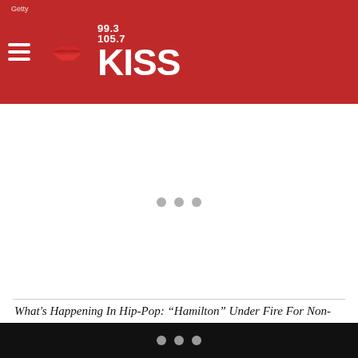99.3 105.7 KISS FM
[Figure (other): Advertisement placeholder area with three gray dots and a horizontal divider line]
What's Happening In Hip-Pop: “Hamilton” Under Fire For Non-White Casting Call, & More  was originally published on